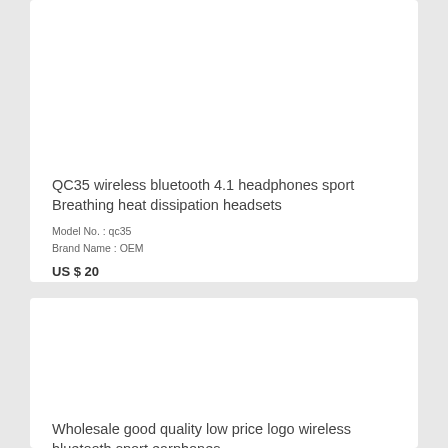[Figure (photo): Product image placeholder (white background) for QC35 wireless bluetooth headphones]
QC35 wireless bluetooth 4.1 headphones sport Breathing heat dissipation headsets
Model No. : qc35
Brand Name : OEM
US $ 20
[Figure (photo): Product image placeholder (white background) for wireless bluetooth sport earphones]
Wholesale good quality low price logo wireless bluetooth sport earphones